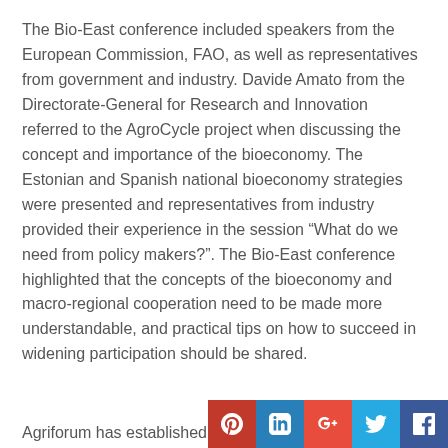The Bio-East conference included speakers from the European Commission, FAO, as well as representatives from government and industry. Davide Amato from the Directorate-General for Research and Innovation referred to the AgroCycle project when discussing the concept and importance of the bioeconomy. The Estonian and Spanish national bioeconomy strategies were presented and representatives from industry provided their experience in the session “What do we need from policy makers?”. The Bio-East conference highlighted that the concepts of the bioeconomy and macro-regional cooperation need to be made more understandable, and practical tips on how to succeed in widening participation should be shared.
Agriforum has established three...